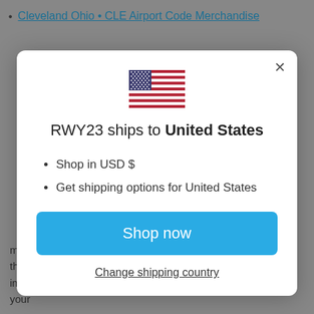Cleveland Ohio • CLE Airport Code Merchandise
[Figure (screenshot): Modal dialog on a website showing a US flag icon, text 'RWY23 ships to United States', bullet points 'Shop in USD $' and 'Get shipping options for United States', a blue 'Shop now' button, and a 'Change shipping country' link]
merchandise. Airport codes symbolize a city's connection to the world and imbue a sense of place. Express your local pride, or celebrate your